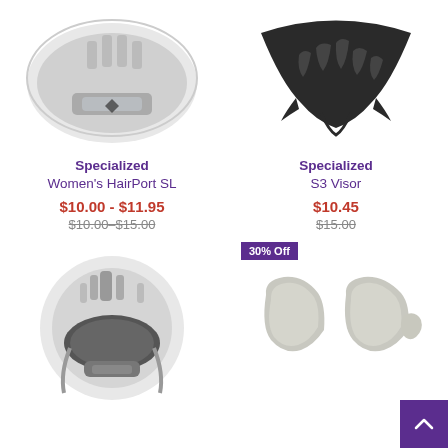[Figure (photo): White bicycle helmet viewed from below/front, showing interior padding and retention system with Specialized diamond logo]
[Figure (photo): Black bicycle helmet visor/brim piece with multiple ventilation cutouts, viewed from above]
Specialized
Women's HairPort SL
$10.00 - $11.95
$10.00–$15.00
Specialized
S3 Visor
$10.45
$15.00
[Figure (photo): White bicycle helmet viewed from front, showing black interior padding and retention system]
30% Off
[Figure (photo): Grey/white bicycle helmet interior padding set - two pieces showing chin and head padding]